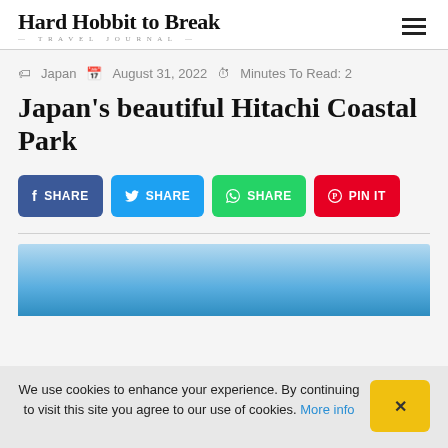Hard Hobbit to Break — TRAVEL JOURNAL
Japan  August 31, 2022  Minutes To Read: 2
Japan's beautiful Hitachi Coastal Park
[Figure (infographic): Social share buttons: Facebook SHARE (blue), Twitter SHARE (light blue), WhatsApp SHARE (green), Pinterest PIN IT (red)]
[Figure (photo): Partial hero image showing blue sky gradient, likely top of a photo of Hitachi Coastal Park]
We use cookies to enhance your experience. By continuing to visit this site you agree to our use of cookies. More info